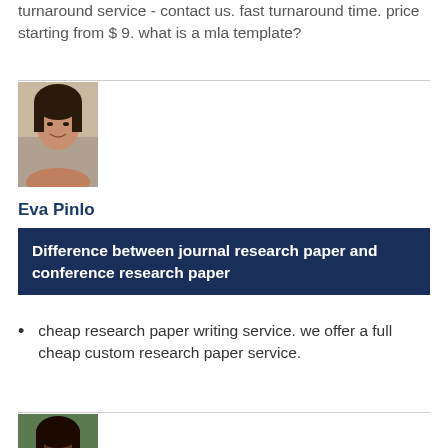turnaround service - contact us. fast turnaround time. price starting from $ 9. what is a mla template?
[Figure (photo): Portrait photo of a woman with dark hair, smiling, outdoors background]
Eva Pinlo
Difference between journal research paper and conference research paper
cheap research paper writing service. we offer a full cheap custom research paper service.
[Figure (photo): Portrait photo of a woman with dark skin, serious expression, green background]